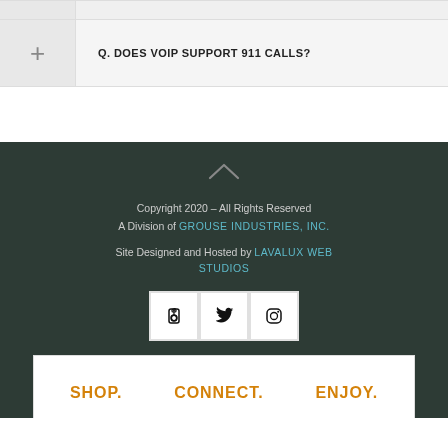Q. DOES VOIP SUPPORT 911 CALLS?
Copyright 2020 - All Rights Reserved
A Division of GROUSE INDUSTRIES, INC.
Site Designed and Hosted by LAVALUX WEB STUDIOS
SHOP.   CONNECT.   ENJOY.